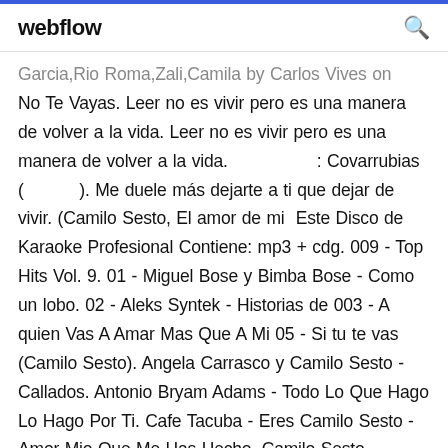webflow
Garcia,Rio Roma,Zali,Camila by Carlos Vives on No Te Vayas. Leer no es vivir pero es una manera de volver a la vida. Leer no es vivir pero es una manera de volver a la vida.                    : Covarrubias (           ). Me duele más dejarte a ti que dejar de vivir. (Camilo Sesto, El amor de mi  Este Disco de Karaoke Profesional Contiene: mp3 + cdg. 009 - Top Hits Vol. 9. 01 - Miguel Bose y Bimba Bose - Como un lobo. 02 - Aleks Syntek - Historias de 003 - A quien Vas A Amar Mas Que A Mi 05 - Si tu te vas (Camilo Sesto). Angela Carrasco y Camilo Sesto - Callados. Antonio Bryam Adams - Todo Lo Que Hago Lo Hago Por Ti. Cafe Tacuba - Eres Camilo Sesto - Amor Mio Que Me Has Hecho. Camilo Sesto